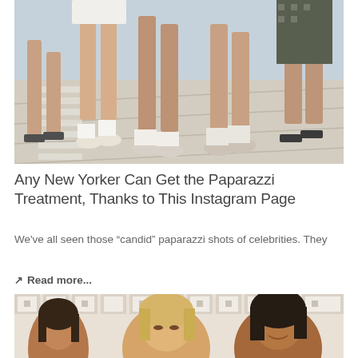[Figure (photo): Close-up photo of legs and feet of several people walking on a sunlit sidewalk, wearing various shoes including sandals, sneakers, and wedges. A woman in a white dress and another in a patterned skirt are visible.]
Any New Yorker Can Get the Paparazzi Treatment, Thanks to This Instagram Page
We've all seen those “candid” paparazzi shots of celebrities. They
Read more...
[Figure (photo): Photo of three young women standing in front of a decorative white lattice/perforated wall. One has dark hair, one is blonde, and one has curly dark hair. They appear to be smiling and looking in different directions.]